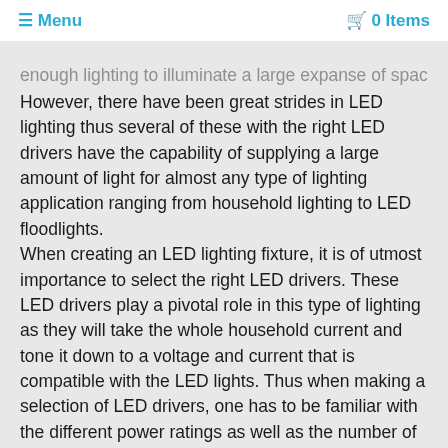≡ Menu   🛒 0 Items
enough lighting to illuminate a large expanse of space. However, there have been great strides in LED lighting thus several of these with the right LED drivers have the capability of supplying a large amount of light for almost any type of lighting application ranging from household lighting to LED floodlights. When creating an LED lighting fixture, it is of utmost importance to select the right LED drivers. These LED drivers play a pivotal role in this type of lighting as they will take the whole household current and tone it down to a voltage and current that is compatible with the LED lights. Thus when making a selection of LED drivers, one has to be familiar with the different power ratings as well as the number of use that will be in use with the application. Generally, LED drivers will come in two different voltage ratings. The first of these is the twelve volt and the second